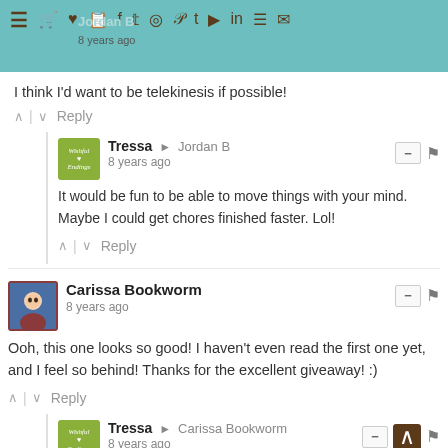Jordan B | 8 years ago
I think I'd want to be telekinesis if possible!
Reply
Tressa → Jordan B
8 years ago
It would be fun to be able to move things with your mind. Maybe I could get chores finished faster. Lol!
Reply
Carissa Bookworm
8 years ago
Ooh, this one looks so good! I haven't even read the first one yet, and I feel so behind! Thanks for the excellent giveaway! :)
Reply
Tressa → Carissa Bookworm
8 years ago
I'm thrilled that the publisher is sponsoring all these fabulous giveaways! I hope you give The Darkest Minds